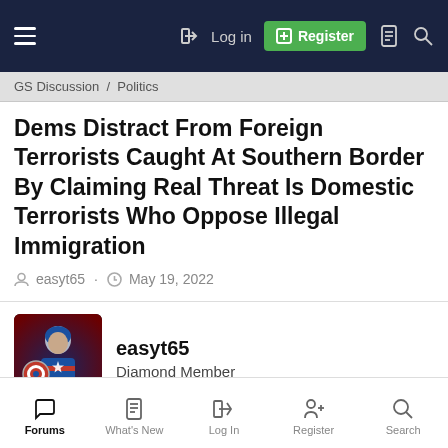Log in  Register
GS Discussion / Politics
Dems Distract From Foreign Terrorists Caught At Southern Border By Claiming Real Threat Is Domestic Terrorists Who Oppose Illegal Immigration
easyt65 · May 19, 2022
easyt65
Diamond Member
May 19, 2022   #1
Dems claim connection between domestic ter...
Forums  What's New  Log In  Register  Search